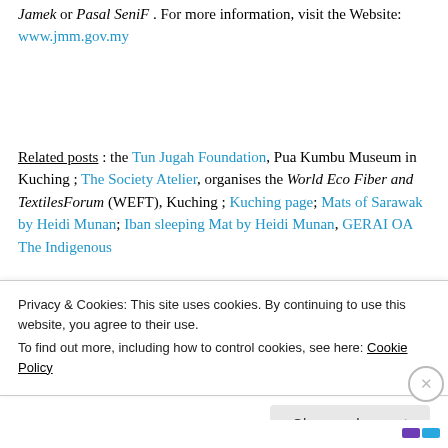Jamek or Pasal SeniF . For more information, visit the Website: www.jmm.gov.my
Related posts : the Tun Jugah Foundation, Pua Kumbu Museum in Kuching ; The Society Atelier, organises the World Eco Fiber and TextilesForum (WEFT), Kuching ; Kuching page; Mats of Sarawak by Heidi Munan; Iban sleeping Mat by Heidi Munan, GERAI OA The Indigenous
Privacy & Cookies: This site uses cookies. By continuing to use this website, you agree to their use.
To find out more, including how to control cookies, see here: Cookie Policy
Close and accept